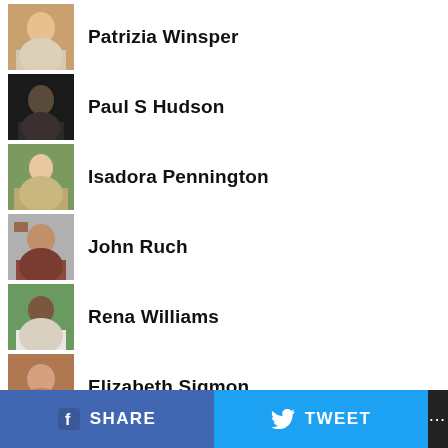Patrizia Winsper
Paul S Hudson
Isadora Pennington
John Ruch
Rena Williams
Elizabeth Sigmon
[Figure (photo): Partial profile avatar with blue background, icon visible]
SHARE   TWEET   ...